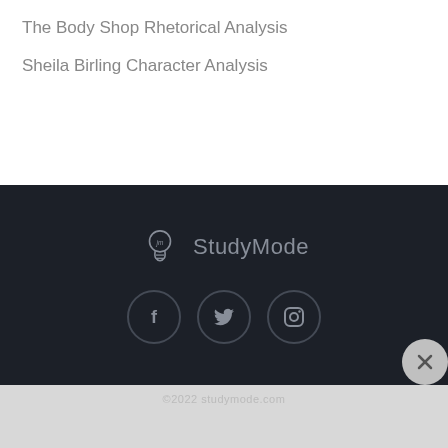The Body Shop Rhetorical Analysis
Sheila Birling Character Analysis
[Figure (logo): StudyMode brand logo with light bulb icon and brand name, social media icons (Facebook, Twitter, Instagram) in dark footer section]
[Figure (other): Exxon advertisement: Increase fuel economy by 2% Exxon]
©2022 studymode.com